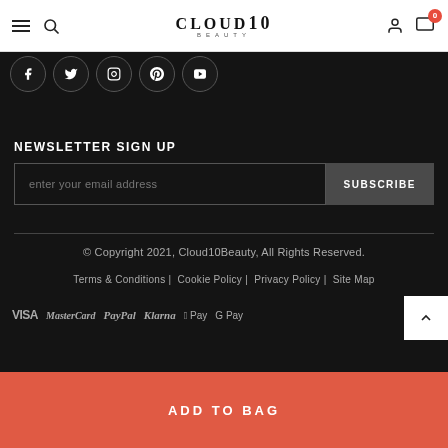CLOUD10 BEAUTY — navigation bar with hamburger, search, logo, user icon, cart (0)
[Figure (illustration): Row of 5 social media icon circles: Facebook, Twitter, Instagram, Pinterest, YouTube]
NEWSLETTER SIGN UP
enter your email address — SUBSCRIBE button
© Copyright 2021, Cloud10Beauty, All Rights Reserved.
Terms & Conditions | Cookie Policy | Privacy Policy | Site Map
[Figure (illustration): Payment method logos: VISA, MasterCard, PayPal, Klarna, Apple Pay, G Pay]
ADD TO BAG